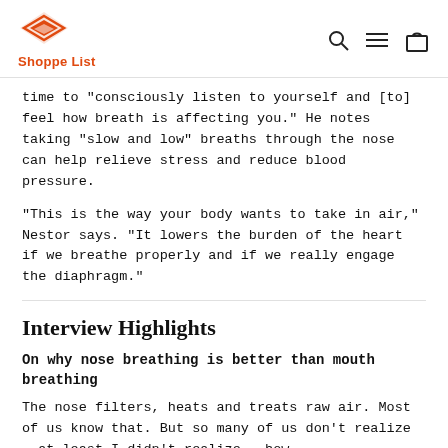Shoppe List
time to "consciously listen to yourself and [to] feel how breath is affecting you." He notes taking "slow and low" breaths through the nose can help relieve stress and reduce blood pressure.
"This is the way your body wants to take in air," Nestor says. "It lowers the burden of the heart if we breathe properly and if we really engage the diaphragm."
Interview Highlights
On why nose breathing is better than mouth breathing
The nose filters, heats and treats raw air. Most of us know that. But so many of us don't realize — at least I didn't realize — how